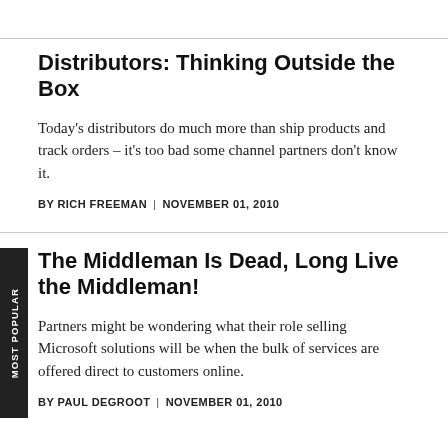Distributors: Thinking Outside the Box
Today's distributors do much more than ship products and track orders – it's too bad some channel partners don't know it.
BY RICH FREEMAN | NOVEMBER 01, 2010
The Middleman Is Dead, Long Live the Middleman!
Partners might be wondering what their role selling Microsoft solutions will be when the bulk of services are offered direct to customers online.
BY PAUL DEGROOT | NOVEMBER 01, 2010